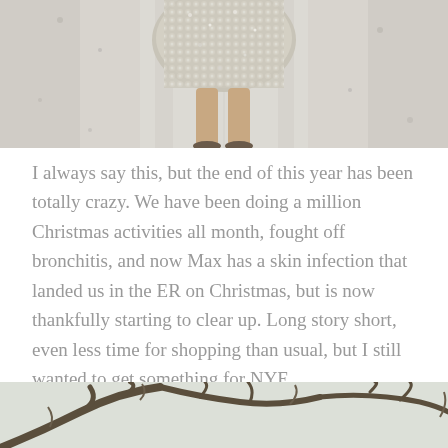[Figure (photo): Photo of a person wearing a sparkly/sequined silver mini skirt or dress, standing on a light gravel or dirt road. Only the lower body is visible.]
I always say this, but the end of this year has been totally crazy. We have been doing a million Christmas activities all month, fought off bronchitis, and now Max has a skin infection that landed us in the ER on Christmas, but is now thankfully starting to clear up. Long story short, even less time for shopping than usual, but I still wanted to get something for NYE.
[Figure (photo): Bottom portion of an outdoor photo showing bare tree branches against a light sky.]